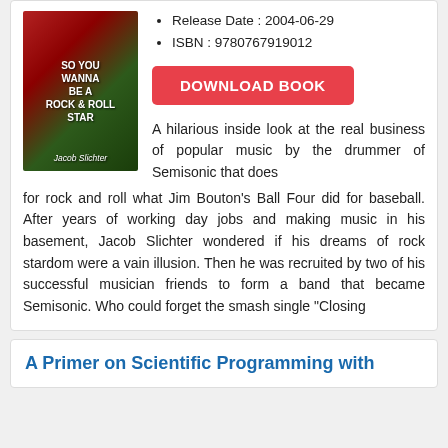[Figure (illustration): Book cover for 'So You Wanna Be a Rock & Roll Star' by Jacob Slichter]
Release Date : 2004-06-29
ISBN : 9780767919012
DOWNLOAD BOOK
A hilarious inside look at the real business of popular music by the drummer of Semisonic that does for rock and roll what Jim Bouton's Ball Four did for baseball. After years of working day jobs and making music in his basement, Jacob Slichter wondered if his dreams of rock stardom were a vain illusion. Then he was recruited by two of his successful musician friends to form a band that became Semisonic. Who could forget the smash single “Closing
A Primer on Scientific Programming with